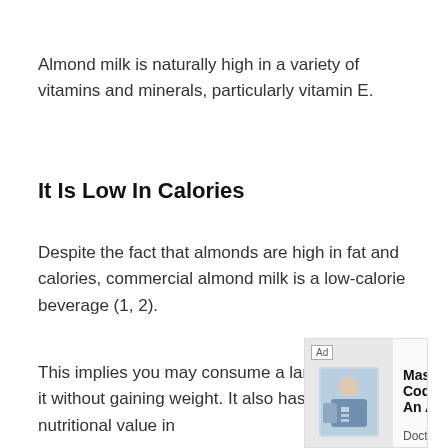Almond milk is naturally high in a variety of vitamins and minerals, particularly vitamin E.
It Is Low In Calories
Despite the fact that almonds are high in fat and calories, commercial almond milk is a low-calorie beverage (1, 2).
This implies you may consume a large amount of it without gaining weight. It also has a high nutritional value in
[Figure (other): Advertisement banner for DoctusTech: 'Master HCC Coding In An App' with a Visit Site button, showing an image of a doctor and patient.]